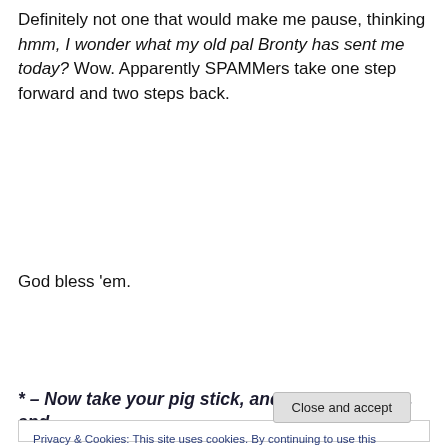Definitely not one that would make me pause, thinking hmm, I wonder what my old pal Bronty has sent me today? Wow. Apparently SPAMMers take one step forward and two steps back.
God bless 'em.
* – Now take your pig stick, and your boyfriend, and
Privacy & Cookies: This site uses cookies. By continuing to use this website, you agree to their use.
To find out more, including how to control cookies, see here: Cookie Policy